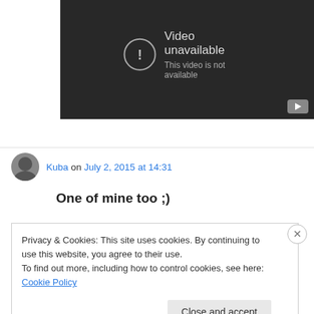[Figure (screenshot): YouTube embedded video player showing 'Video unavailable - This video is not available' error message on dark background]
Kuba on July 2, 2015 at 14:31
One of mine too ;)
Privacy & Cookies: This site uses cookies. By continuing to use this website, you agree to their use.
To find out more, including how to control cookies, see here: Cookie Policy